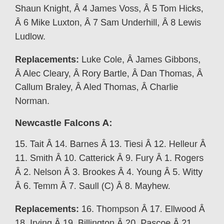Shaun Knight, Â 4 James Voss, Â 5 Tom Hicks, Â 6 Mike Luxton, Â 7 Sam Underhill, Â 8 Lewis Ludlow.
Replacements: Luke Cole, Â James Gibbons, Â Alec Cleary, Â Rory Bartle, Â Dan Thomas, Â Callum Braley, Â Aled Thomas, Â Charlie Norman.
Newcastle Falcons A:
15. Tait Â 14. Barnes Â 13. Tiesi Â 12. Helleur Â 11. Smith Â 10. Catterick Â 9. Fury Â 1. Rogers Â 2. Nelson Â 3. Brookes Â 4. Young Â 5. Witty Â 6. Temm Â 7. Saull (C) Â 8. Mayhew.
Replacements: 16. Thompson Â 17. Ellwood Â 18. Irving Â 19. Billington Â 20. Pascoe Â 21. Taylor Â 22. Clegg Â 23. Penny.
Bristol United: